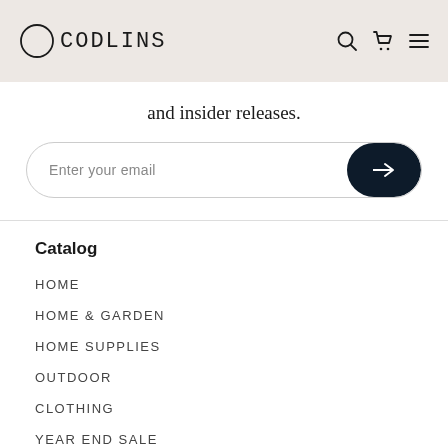CODLINS
and insider releases.
[Figure (screenshot): Email newsletter signup input field with placeholder text 'Enter your email' and a dark navy arrow submit button on the right]
Catalog
HOME
HOME & GARDEN
HOME SUPPLIES
OUTDOOR
CLOTHING
YEAR END SALE